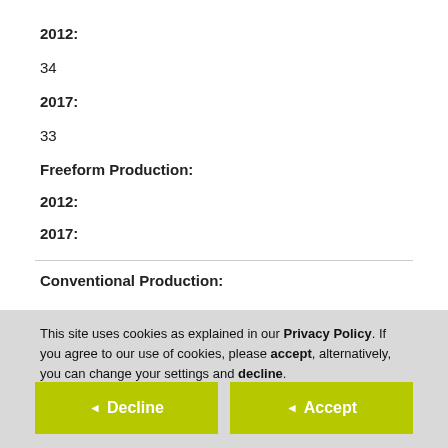2012:
34
2017:
33
Freeform Production:
2012:
2017:
Conventional Production:
This site uses cookies as explained in our Privacy Policy. If you agree to our use of cookies, please accept, alternatively, you can change your settings and decline.